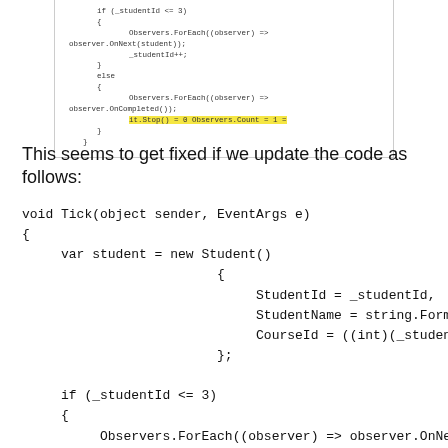[Figure (screenshot): Screenshot of code editor showing C# code snippet with if/else block using Observers.ForEach and _studentId++, with a yellow highlighted tooltip line at the bottom reading 'it.Stop() = 0 Observers.Count = 1 ='.]
This seems to get fixed if we update the code as follows:
[Figure (screenshot): Code block showing C# method: void Tick(object sender, EventArgs e) with var student = new Student() initializer containing StudentId, StudentName, CourseId fields, followed by if (_studentId <= 3) block with Observers.ForEach and _studentId++, then else block with Observers.ToList().ForEach.]